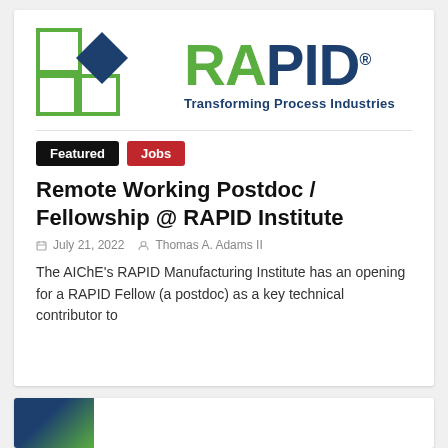[Figure (logo): RAPID Manufacturing Institute logo — two outlined squares (green border) and a dark blue diamond on the left, followed by 'RAPID' in large green and dark blue bold text with a registered trademark symbol, and 'Transforming Process Industries' tagline in dark blue below]
Featured
Jobs
Remote Working Postdoc / Fellowship @ RAPID Institute
July 21, 2022   Thomas A. Adams II
The AIChE's RAPID Manufacturing Institute has an opening for a RAPID Fellow (a postdoc) as a key technical contributor to